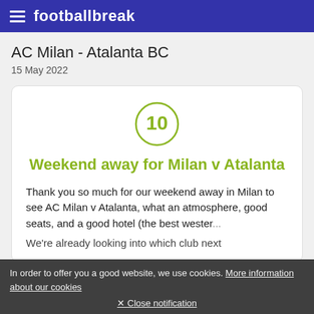footballbreak
AC Milan - Atalanta BC
15 May 2022
[Figure (infographic): Circle with number 10 inside, olive/green colored]
Weekend away for Milan v Atalanta
Thank you so much for our weekend away in Milan to see AC Milan v Atalanta, what an atmosphere, good seats, and a good hotel (the best wester...
We're already looking into which club next
In order to offer you a good website, we use cookies. More information about our cookies
Close notification